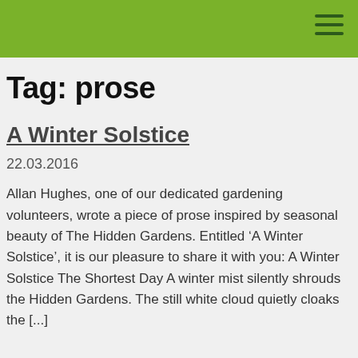Tag: prose
A Winter Solstice
22.03.2016
Allan Hughes, one of our dedicated gardening volunteers, wrote a piece of prose inspired by seasonal beauty of The Hidden Gardens. Entitled ‘A Winter Solstice’, it is our pleasure to share it with you: A Winter Solstice The Shortest Day A winter mist silently shrouds the Hidden Gardens. The still white cloud quietly cloaks the [...]
MORE